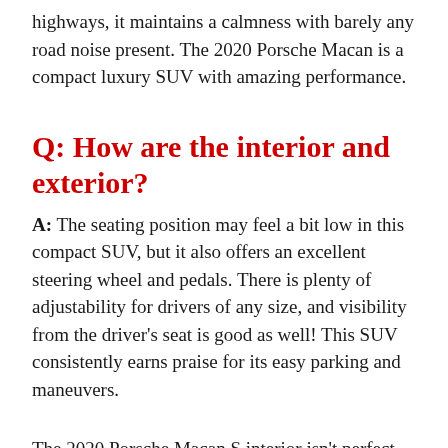highways, it maintains a calmness with barely any road noise present. The 2020 Porsche Macan is a compact luxury SUV with amazing performance.
Q: How are the interior and exterior?
A: The seating position may feel a bit low in this compact SUV, but it also offers an excellent steering wheel and pedals. There is plenty of adjustability for drivers of any size, and visibility from the driver's seat is good as well! This SUV consistently earns praise for its easy parking and maneuvers.
The 2020 Porsche Macan S interior isn't perfect. The center stack is full of buttons that may be good if you prefer fixed controls to touchscreens, but it's not aesthetically pleasing. The steering wheel and shifter can block some of the control panel from your view, and there are few shortcomings in terms of leg